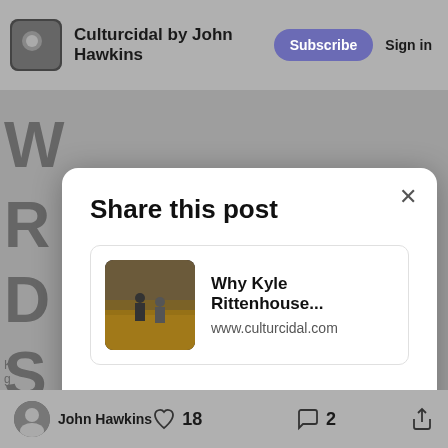Culturcidal by John Hawkins | Subscribe | Sign in
Share this post
Why Kyle Rittenhouse...
www.culturcidal.com
Copy link
Twitter
Facebook
Email
John Hawkins  ♡ 18  💬 2